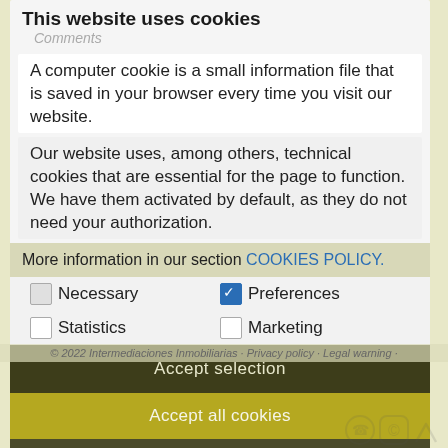This website uses cookies
A computer cookie is a small information file that is saved in your browser every time you visit our website.
Our website uses, among others, technical cookies that are essential for the page to function. We have them activated by default, as they do not need your authorization.
More information in our section COOKIES POLICY.
Necessary
Preferences
Statistics
Marketing
Accept selection
© 2022 Intermediaciones Inmobiliarias · Privacy policy · Legal warning ·
Accept all cookies
Setting